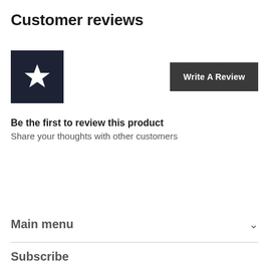Customer reviews
[Figure (illustration): Dark navy square box containing a white star icon, representing a product review rating placeholder]
Write A Review
Be the first to review this product
Share your thoughts with other customers
Main menu
Subscribe